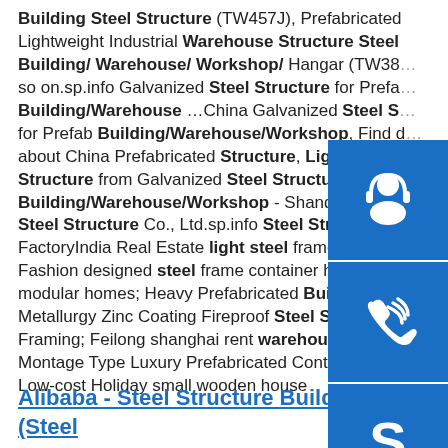Building Steel Structure (TW457J), Prefabricated Lightweight Industrial Warehouse Structure Steel Building/ Warehouse/ Workshop/ Hangar (TW38... so on.sp.info Galvanized Steel Structure for Prefab Building/Warehouse ...China Galvanized Steel S... for Prefab Building/Warehouse/Workshop, Find details about China Prefabricated Structure, Light Steel Structure from Galvanized Steel Structure for Prefab Building/Warehouse/Workshop - Shandong Shangye Steel Structure Co., Ltd.sp.info Steel Structure FactoryIndia Real Estate light steel frame house f... Fashion designed steel frame container homes modular homes; Heavy Prefabricated Building Metallurgy Zinc Coating Fireproof Steel Structure Framing; Feilong shanghai rent warehouse; The Montage Type Luxury Prefabricated Container House; Low-cost Holiday small wooden house
Alibaba - Steel Structure Building (Steel